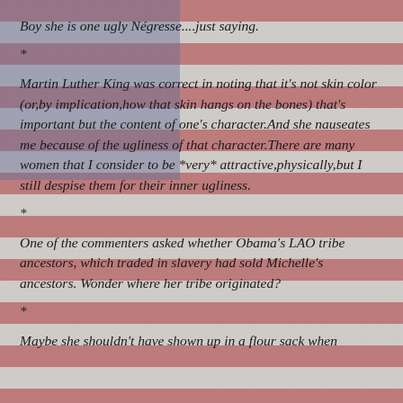[Figure (illustration): Faded American flag background image with red and white stripes and blue star field in upper left]
Boy she is one ugly Négresse....just saying.
*
Martin Luther King was correct in noting that it's not skin color (or,by implication,how that skin hangs on the bones) that's important but the content of one's character.And she nauseates me because of the ugliness of that character.There are many women that I consider to be *very* attractive,physically,but I still despise them for their inner ugliness.
*
One of the commenters asked whether Obama's LAO tribe ancestors, which traded in slavery had sold Michelle's ancestors. Wonder where her tribe originated?
*
Maybe she shouldn't have shown up in a flour sack when